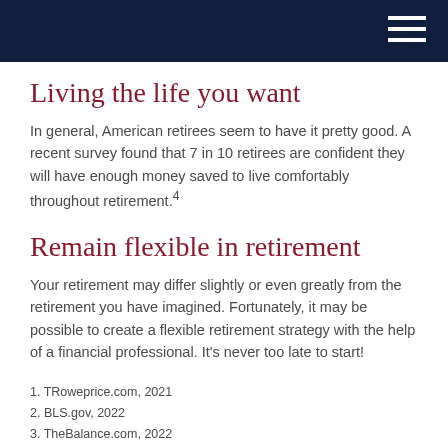Living the life you want
In general, American retirees seem to have it pretty good. A recent survey found that 7 in 10 retirees are confident they will have enough money saved to live comfortably throughout retirement.4
Remain flexible in retirement
Your retirement may differ slightly or even greatly from the retirement you have imagined. Fortunately, it may be possible to create a flexible retirement strategy with the help of a financial professional. It's never too late to start!
1. TRoweprice.com, 2021
2. BLS.gov, 2022
3. TheBalance.com, 2022
4. EBRI.org, 2022